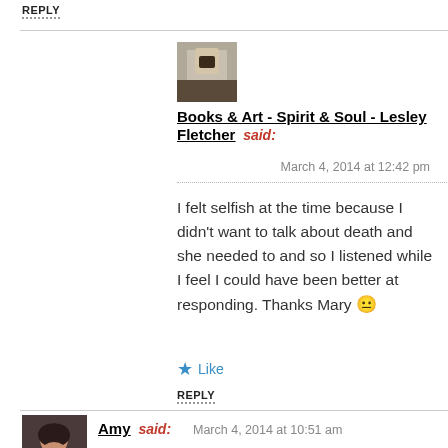REPLY
[Figure (photo): Avatar thumbnail for Books & Art - Spirit & Soul - Lesley Fletcher]
Books & Art - Spirit & Soul - Lesley Fletcher said:
March 4, 2014 at 12:42 pm
I felt selfish at the time because I didn't want to talk about death and she needed to and so I listened while I feel I could have been better at responding. Thanks Mary 😐
★ Like
REPLY
[Figure (photo): Avatar photo of Amy, a woman with dark hair]
Amy said: March 4, 2014 at 10:51 am
** hugs**, Lesley